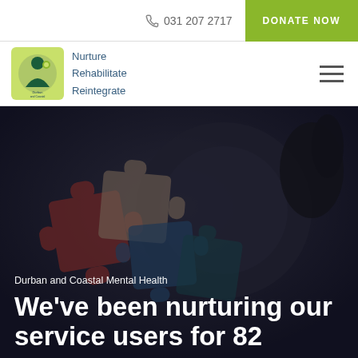031 207 2717   DONATE NOW
[Figure (logo): Durban and Coastal Mental Health logo with tagline: Nurture Rehabilitate Reintegrate]
Nurture
Rehabilitate
Reintegrate
[Figure (photo): Dark overlay hero image showing puzzle pieces (red, blue, beige) with hands in background]
Durban and Coastal Mental Health
We've been nurturing our service users for 82